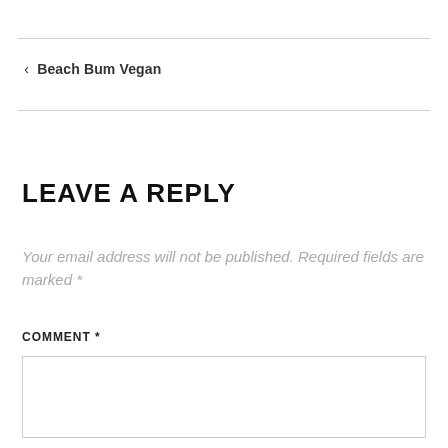< Beach Bum Vegan
LEAVE A REPLY
Your email address will not be published. Required fields are marked *
COMMENT *